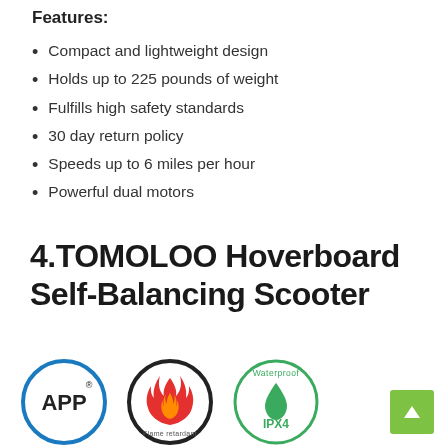Features:
Compact and lightweight design
Holds up to 225 pounds of weight
Fulfills high safety standards
30 day return policy
Speeds up to 6 miles per hour
Powerful dual motors
4.TOMOLOO Hoverboard Self-Balancing Scooter
[Figure (logo): Three certification badges: APP (blue circle), Flame retardant (dark circle with red flame), Waterproof IPX4 (green circle with water droplet)]